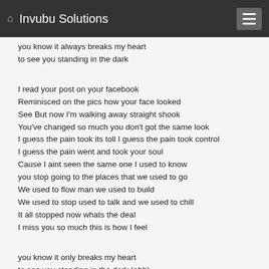Invubu Solutions
you know it always breaks my heart
to see you standing in the dark

I read your post on your facebook
Reminisced on the pics how your face looked
See But now I'm walking away straight shook
You've changed so much you don't got the same look
I guess the pain took its toll I guess the pain took control
I guess the pain went and took your soul
Cause I aint seen the same one I used to know
you stop going to the places that we used to go
We used to flow man we used to build
We used to stop used to talk and we used to chill
It all stopped now whats the deal
I miss you so much this is how I feel

you know it only breaks my heart
to see you standing in the dark (ohh)